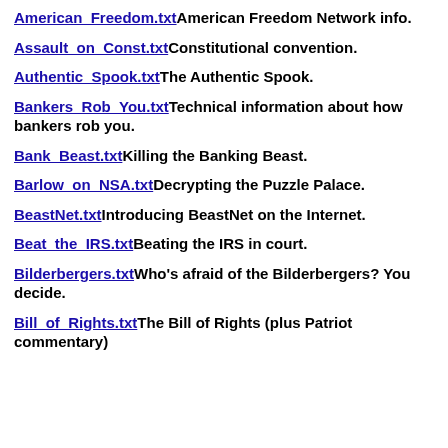American_Freedom.txt American Freedom Network info.
Assault_on_Const.txt Constitutional convention.
Authentic_Spook.txt The Authentic Spook.
Bankers_Rob_You.txt Technical information about how bankers rob you.
Bank_Beast.txt Killing the Banking Beast.
Barlow_on_NSA.txt Decrypting the Puzzle Palace.
BeastNet.txt Introducing BeastNet on the Internet.
Beat_the_IRS.txt Beating the IRS in court.
Bilderbergers.txt Who's afraid of the Bilderbergers? You decide.
Bill_of_Rights.txt The Bill of Rights (plus Patriot commentary)